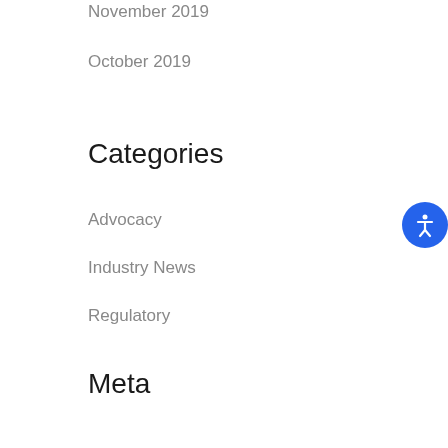November 2019
October 2019
Categories
Advocacy
Industry News
Regulatory
Meta
Log in
Entries feed